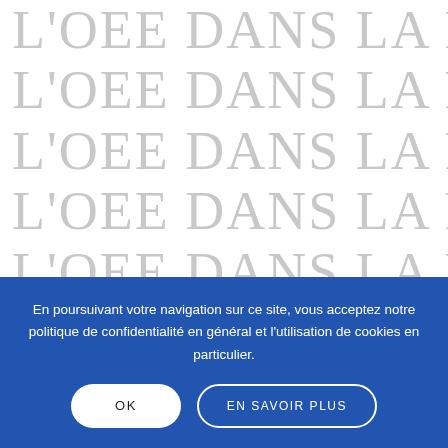L'OEE DANS LA PRESSE, L'OEE DANS LA PRESSE, L'OEE DANS LA PRESSE, L'OEE DANS LA PRESSE, L'OEE DANS LA PRESSE, L'OEE DANS LA PRESSE, L'OEE DANS LA PRESSE
Institutionnels 54 – AF2i (French only)
JULY 2019  /  BY BRITT
En poursuivant votre navigation sur ce site, vous acceptez notre politique de confidentialité en général et l'utilisation de cookies en particulier.
OK    EN SAVOIR PLUS